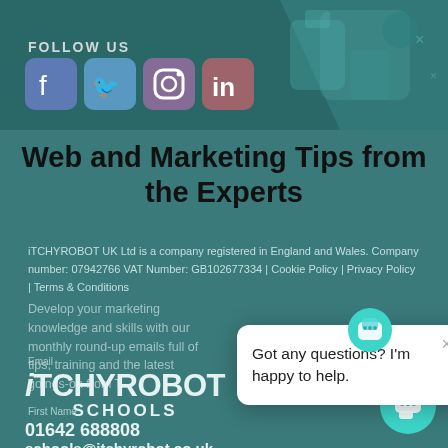FOLLOW US
[Figure (illustration): Social media icons: Facebook, Twitter, Instagram, LinkedIn]
Web and Marketing Tips from the Experts
Develop your marketing knowledge and skills with our monthly round-up emails full of tips, training and the latest goings-on from the...
iTCHYROBOT UK Ltd is a company registered in England and Wales. Company number: 07942766 VAT Number: GB102677334 | Cookie Policy | Privacy Policy | Terms & Conditions
Email
iTCHYROBOT SCHOOLS
01642 688808
schools@itchyrobot.co.uk
Got any questions? I'm happy to help.